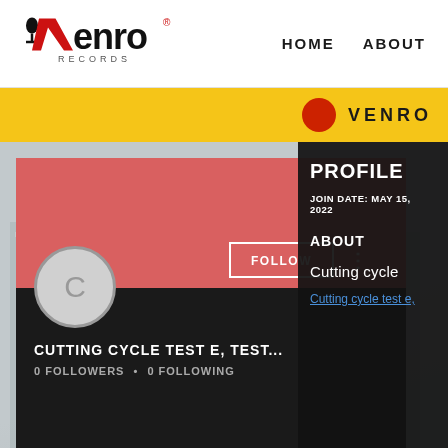Venro Records — HOME  ABOUT
[Figure (logo): Venro Records logo with microphone icon and red/black text]
HOME   ABOUT
● VENRO
[Figure (screenshot): Profile card for Cutting Cycle Test E with pink/black card, avatar circle with C, FOLLOW button, 0 FOLLOWERS • 0 FOLLOWING]
CUTTING CYCLE TEST E, TEST...
0 FOLLOWERS • 0 FOLLOWING
PROFILE
JOIN DATE: MAY 15, 2022
ABOUT
Cutting cycle
Cutting cycle test e,